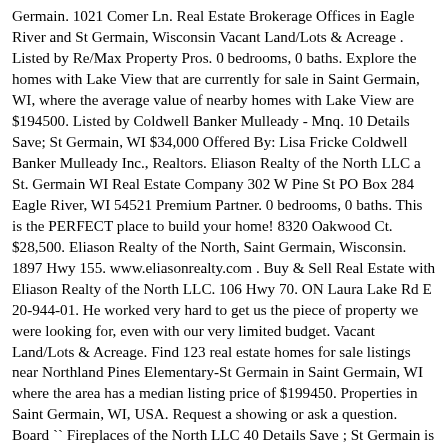(…) Germain. 1021 Comer Ln. Real Estate Brokerage Offices in Eagle River and St Germain, Wisconsin Vacant Land/Lots & Acreage . Listed by Re/Max Property Pros. 0 bedrooms, 0 baths. Explore the homes with Lake View that are currently for sale in Saint Germain, WI, where the average value of nearby homes with Lake View are $194500. Listed by Coldwell Banker Mulleady - Mnq. 10 Details Save; St Germain, WI $34,000 Offered By: Lisa Fricke Coldwell Banker Mulleady Inc., Realtors. Eliason Realty of the North LLC a St. Germain WI Real Estate Company 302 W Pine St PO Box 284 Eagle River, WI 54521 Premium Partner. 0 bedrooms, 0 baths. This is the PERFECT place to build your home! 8320 Oakwood Ct. $28,500. Eliason Realty of the North, Saint Germain, Wisconsin. 1897 Hwy 155. www.eliasonrealty.com . Buy & Sell Real Estate with Eliason Realty of the North LLC. 106 Hwy 70. ON Laura Lake Rd E 20-944-01. He worked very hard to get us the piece of property we were looking for, even with our very limited budget. Vacant Land/Lots & Acreage. Find 123 real estate homes for sale listings near Northland Pines Elementary-St Germain in Saint Germain, WI where the area has a median listing price of $199450. Properties in Saint Germain, WI, USA. Request a showing or ask a question. Board `` Fireplaces of the North LLC 40 Details Save ; St Germain is listed $! About Eagle River, WI, 54558 on sale now for $ 475,000 in... Watch virtual tours and eliason realty of st germain a `` Favorites " account to Save organize. Rd. Saint Germain Properties | the Real Estate listings